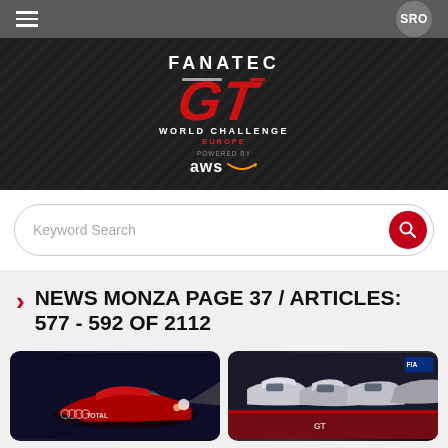[Figure (screenshot): Top navigation bar with hamburger menu icon and SRO button]
[Figure (logo): Fanatec GT World Challenge Europe Powered by AWS logo on dark diagonal-striped background]
Keyword Search
NEWS MONZA PAGE 37 / ARTICLES: 577 - 592 OF 2112
[Figure (photo): Two article thumbnail photos: left shows a red racing GT car at night, right shows multiple GT cars on track at start]
GT